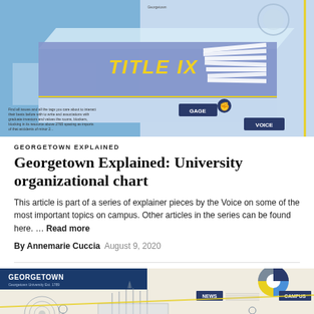[Figure (infographic): Title IX infographic illustration showing a 3D layered diagram with 'TITLE IX' text in yellow on blue background, includes labels 'GAGE' and 'VOICE', stacked paper documents on right, small text caption at bottom left]
GEORGETOWN EXPLAINED
Georgetown Explained: University organizational chart
This article is part of a series of explainer pieces by the Voice on some of the most important topics on campus. Other articles in the series can be found here. … Read more
By Annemarie Cuccia   August 9, 2020
[Figure (infographic): Georgetown University infographic with dark blue header showing 'GEORGETOWN' text, 'Georgetown University Est. 1789', with a blue/yellow/grey pie chart graphic on right, 'NEWS' and 'CAMPUS' labels visible, architectural outline drawing of Georgetown buildings in center]